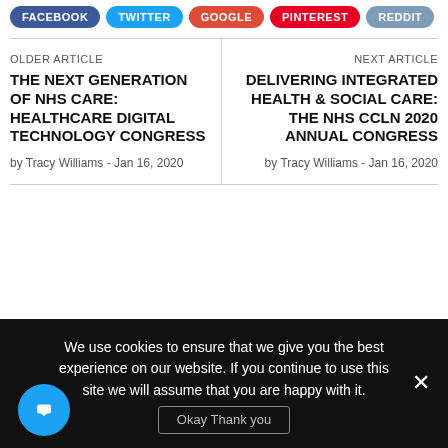[Figure (other): Social share buttons: FACEBOOK (blue), TWITTER (cyan), GOOGLE (red-orange), PINTEREST (red), REDDIT (grey-blue)]
OLDER ARTICLE
THE NEXT GENERATION OF NHS CARE: HEALTHCARE DIGITAL TECHNOLOGY CONGRESS
by Tracy Williams - Jan 16, 2020
NEXT ARTICLE
DELIVERING INTEGRATED HEALTH & SOCIAL CARE: THE NHS CCLN 2020 ANNUAL CONGRESS
by Tracy Williams - Jan 16, 2020
We use cookies to ensure that we give you the best experience on our website. If you continue to use this site we will assume that you are happy with it.